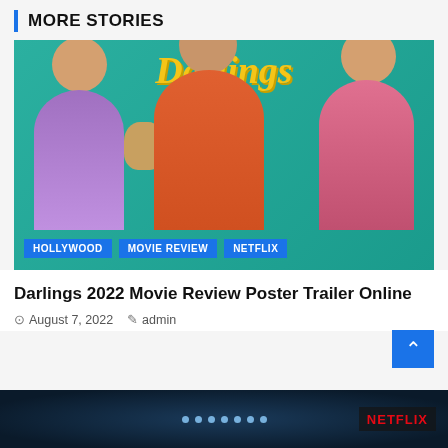MORE STORIES
[Figure (photo): Movie poster for Darlings (2022) showing three actors seated at a table with teacups, against a teal background with 'Darlings' text. Tags: HOLLYWOOD, MOVIE REVIEW, NETFLIX]
Darlings 2022 Movie Review Poster Trailer Online
August 7, 2022  admin
[Figure (photo): Dark image with Netflix badge at bottom right, showing what appears to be a dark nighttime or space scene with lights]